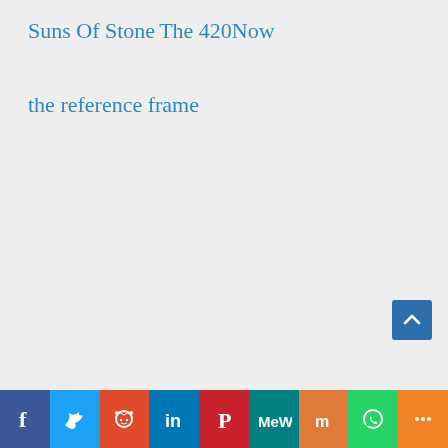Suns Of Stone
The 420Now
the reference frame
Social share bar: Facebook, Twitter, Reddit, LinkedIn, Pinterest, MeWe, Mix, WhatsApp, More